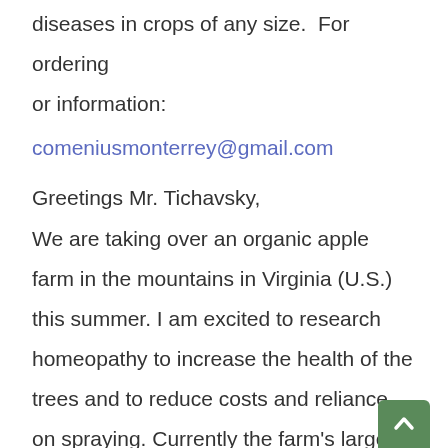diseases in crops of any size.  For ordering or information:
comeniusmonterrey@gmail.com
Greetings Mr. Tichavsky,
We are taking over an organic apple farm in the mountains in Virginia (U.S.) this summer. I am excited to research homeopathy to increase the health of the trees and to reduce costs and reliance on spraying. Currently the farm's largest pests/disease are fire blight (cut out),